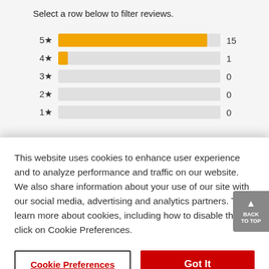Select a row below to filter reviews.
[Figure (bar-chart): Star rating distribution]
This website uses cookies to enhance user experience and to analyze performance and traffic on our website. We also share information about your use of our site with our social media, advertising and analytics partners. To learn more about cookies, including how to disable them, click on Cookie Preferences.
Cookie Preferences
Got It
Sort by: Most Recent ▼